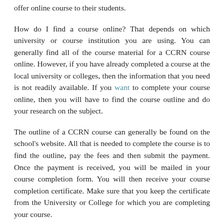offer online course to their students.
How do I find a course online? That depends on which university or course institution you are using. You can generally find all of the course material for a CCRN course online. However, if you have already completed a course at the local university or colleges, then the information that you need is not readily available. If you want to complete your course online, then you will have to find the course outline and do your research on the subject.
The outline of a CCRN course can generally be found on the school's website. All that is needed to complete the course is to find the outline, pay the fees and then submit the payment. Once the payment is received, you will be mailed in your course completion form. You will then receive your course completion certificate. Make sure that you keep the certificate from the University or College for which you are completing your course.
How do I renew my CCRN certification? The next step in renewing your CCRN is to contact the IT manager who created the course. IT staff should be able to help you with a few